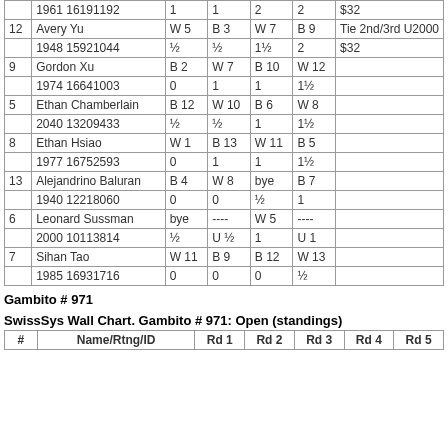| # | Name/Rtng/ID | Rd 1 | Rd 2 | Rd 3 | Rd 4 | Prize |
| --- | --- | --- | --- | --- | --- | --- |
|  | 1961 16191192 | 1 | 1 | 2 | 2 | $32 |
| 12 | Avery Yu | W 5 | B 3 | W 7 | B 9 | Tie 2nd/3rd U2000 |
|  | 1948 15921044 | ½ | ½ | 1½ | 2 | $32 |
| 9 | Gordon Xu | B 2 | W 7 | B 10 | W 12 |  |
|  | 1974 16641003 | 0 | 1 | 1 | 1½ |  |
| 5 | Ethan Chamberlain | B 12 | W 10 | B 6 | W 8 |  |
|  | 2040 13209433 | ½ | ½ | 1 | 1½ |  |
| 8 | Ethan Hsiao | W 1 | B 13 | W 11 | B 5 |  |
|  | 1977 16752593 | 0 | 1 | 1 | 1½ |  |
| 13 | Alejandrino Baluran | B 4 | W 8 | bye | B 7 |  |
|  | 1940 12218060 | 0 | 0 | ½ | 1 |  |
| 6 | Leonard Sussman | bye | ---- | W 5 | ---- |  |
|  | 2000 10113814 | ½ | U ½ | 1 | U 1 |  |
| 7 | Sihan Tao | W 11 | B 9 | B 12 | W 13 |  |
|  | 1985 16931716 | 0 | 0 | 0 | ½ |  |
Gambito # 971
SwissSys Wall Chart. Gambito # 971: Open (standings)
| # | Name/Rtng/ID | Rd 1 | Rd 2 | Rd 3 | Rd 4 | Rd 5 |
| --- | --- | --- | --- | --- | --- | --- |